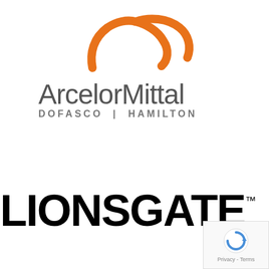[Figure (logo): ArcelorMittal Dofasco Hamilton logo with orange arc/swoosh symbol above the company name in grey]
[Figure (logo): Lionsgate wordmark in bold black capital letters with TM superscript]
[Figure (other): Google reCAPTCHA badge with Privacy and Terms text]